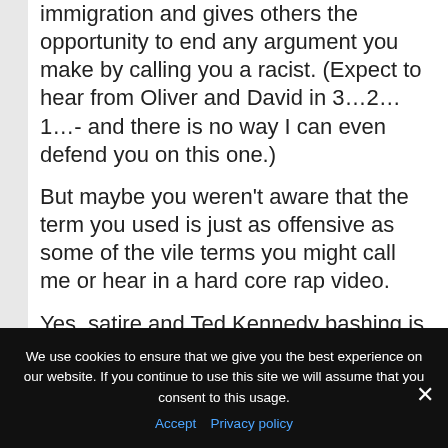immigration and gives others the opportunity to end any argument you make by calling you a racist. (Expect to hear from Oliver and David in 3…2… 1…- and there is no way I can even defend you on this one.)
But maybe you weren't aware that the term you used is just as offensive as some of the vile terms you might call me or hear in a hard core rap video.
Yes, satire and Ted Kennedy bashing is fun, but I hope you would think twice about including racial slurs in your humor in the future. It's a free country,
We use cookies to ensure that we give you the best experience on our website. If you continue to use this site we will assume that you consent to this usage.